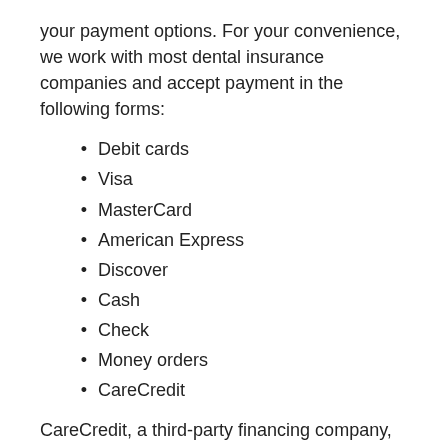your payment options. For your convenience, we work with most dental insurance companies and accept payment in the following forms:
Debit cards
Visa
MasterCard
American Express
Discover
Cash
Check
Money orders
CareCredit
CareCredit, a third-party financing company, provides low- and no-interest financing. They have helped thousands of families achieve their oral health and smile goals at an affordable cost. You can